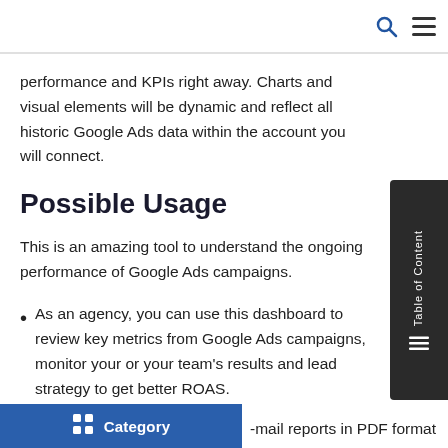performance and KPIs right away. Charts and visual elements will be dynamic and reflect all historic Google Ads data within the account you will connect.
Possible Usage
This is an amazing tool to understand the ongoing performance of Google Ads campaigns.
As an agency, you can use this dashboard to review key metrics from Google Ads campaigns, monitor your or your team's results and lead strategy to get better ROAS.
-mail reports in PDF format